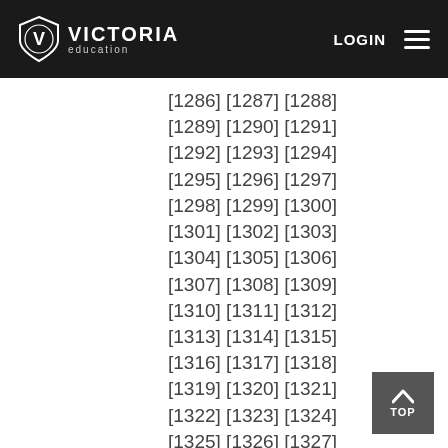VICTORIA education — LOGIN
[1286] [1287] [1288] [1289] [1290] [1291] [1292] [1293] [1294] [1295] [1296] [1297] [1298] [1299] [1300] [1301] [1302] [1303] [1304] [1305] [1306] [1307] [1308] [1309] [1310] [1311] [1312] [1313] [1314] [1315] [1316] [1317] [1318] [1319] [1320] [1321] [1322] [1323] [1324] [1325] [1326] [1327] [1328] [1329] [1330] [1331] [1332] [1333] [1334] [1335] [1336]